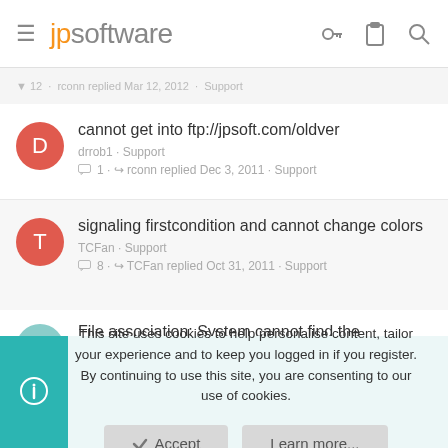jpsoftware
12 · rconn replied Mar 12, 2012 · Support
cannot get into ftp://jpsoft.com/oldver
drrob1 · Support
1 · rconn replied Dec 3, 2011 · Support
signaling firstcondition and cannot change colors
TCFan · Support
8 · TCFan replied Oct 31, 2011 · Support
File association: System cannot find the
This site uses cookies to help personalise content, tailor your experience and to keep you logged in if you register.
By continuing to use this site, you are consenting to our use of cookies.